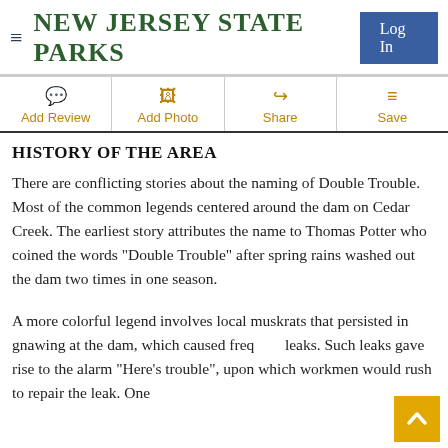NEW JERSEY STATE PARKS
Add Review
Add Photo
Share
Save
HISTORY OF THE AREA
There are conflicting stories about the naming of Double Trouble. Most of the common legends centered around the dam on Cedar Creek. The earliest story attributes the name to Thomas Potter who coined the words "Double Trouble" after spring rains washed out the dam two times in one season.
A more colorful legend involves local muskrats that persisted in gnawing at the dam, which caused frequent leaks. Such leaks gave rise to the alarm "Here's trouble", upon which workmen would rush to repair the leak. One